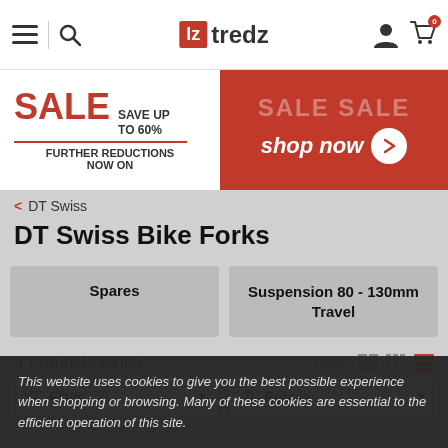tredz — navigation bar with hamburger, search, logo, user icon, cart (0)
[Figure (screenshot): Sale banner: white left panel with SALE SAVE UP TO 60% FURTHER REDUCTIONS NOW ON; red right panel with SALE repeated and shop now button]
< DT Swiss
DT Swiss Bike Forks
Spares
Suspension 80 - 130mm Travel
3 Products found   View:
Filter (2)   Popular
This website uses cookies to give you the best possible experience when shopping or browsing. Many of these cookies are essential to the efficient operation of this site.